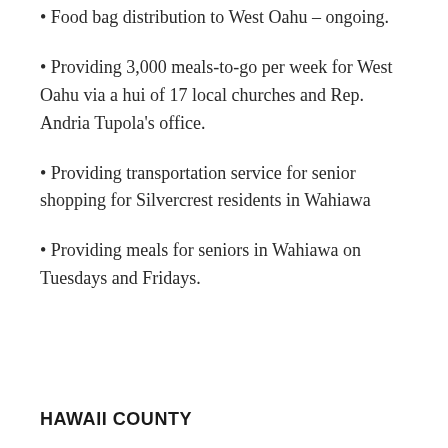Food bag distribution to West Oahu – ongoing.
Providing 3,000 meals-to-go per week for West Oahu via a hui of 17 local churches and Rep. Andria Tupola's office.
Providing transportation service for senior shopping for Silvercrest residents in Wahiawa
Providing meals for seniors in Wahiawa on Tuesdays and Fridays.
HAWAII COUNTY